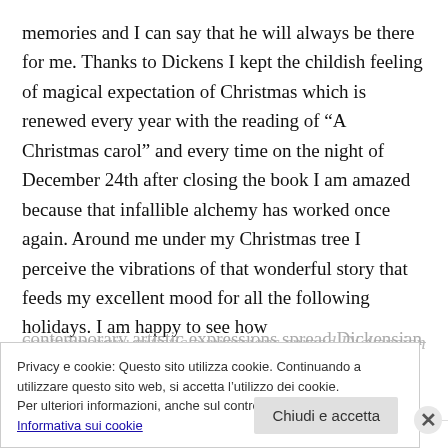memories and I can say that he will always be there for me. Thanks to Dickens I kept the childish feeling of magical expectation of Christmas which is renewed every year with the reading of “A Christmas carol” and every time on the night of December 24th after closing the book I am amazed because that infallible alchemy has worked once again. Around me under my Christmas tree I perceive the vibrations of that wonderful story that feeds my excellent mood for all the following holidays. I am happy to see how contemporary artistic expressions spread Dickensian
Privacy e cookie: Questo sito utilizza cookie. Continuando a utilizzare questo sito web, si accetta l’utilizzo dei cookie.
Per ulteriori informazioni, anche sul controllo dei cookie, leggi qui:
Informativa sui cookie
Chiudi e accetta
Annunci